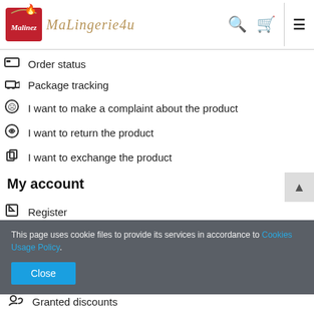MaLingerie4u — Malinez logo header with search, cart, and menu icons
Order status
Package tracking
I want to make a complaint about the product
I want to return the product
I want to exchange the product
My account
Register
My orders
This page uses cookie files to provide its services in accordance to Cookies Usage Policy.
Granted discounts